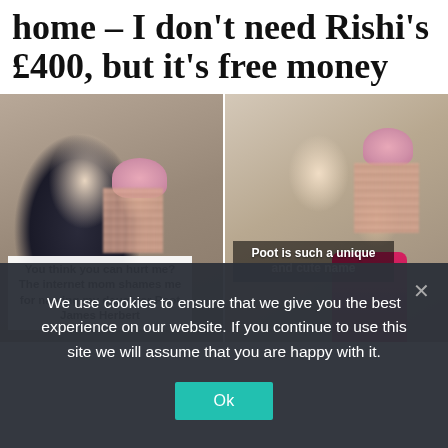home – I don't need Rishi's £400, but it's free money
[Figure (photo): Two side-by-side photos of a dark-haired woman with a pixelated child. Left photo: woman holding child in pink hat indoors, with white text box overlay reading 'You think you can hurt me? The internet mom shames me for naming my daughter Poot James Herbert'. Right photo: smiling woman holding child in pink hat, with dark overlay text reading 'Poot is such a unique and cute name'.]
We use cookies to ensure that we give you the best experience on our website. If you continue to use this site we will assume that you are happy with it.